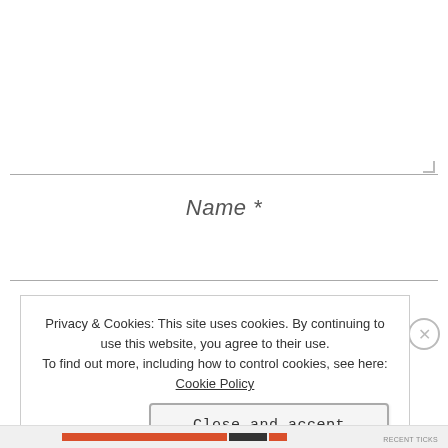[Figure (screenshot): Web form textarea input with horizontal divider line and resize handle at bottom-right corner]
Name *
[Figure (screenshot): Cookie consent notification box with Privacy & Cookies message, Cookie Policy link, and Close and accept button]
RECENT TICKS